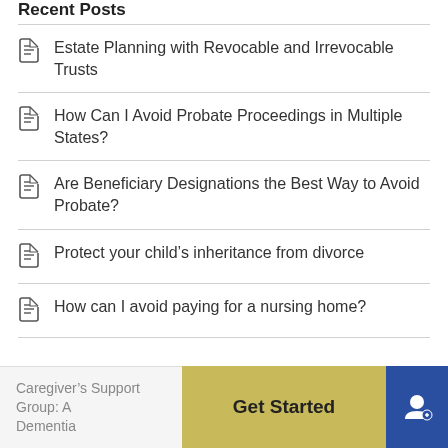Recent Posts
Estate Planning with Revocable and Irrevocable Trusts
How Can I Avoid Probate Proceedings in Multiple States?
Are Beneficiary Designations the Best Way to Avoid Probate?
Protect your child’s inheritance from divorce
How can I avoid paying for a nursing home?
Caregiver’s Support Group: A... Dementia
Get Started